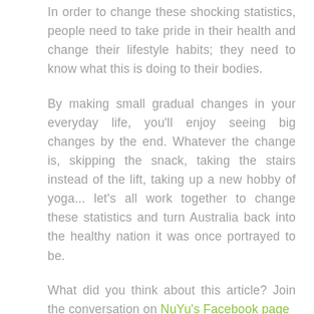In order to change these shocking statistics, people need to take pride in their health and change their lifestyle habits; they need to know what this is doing to their bodies.
By making small gradual changes in your everyday life, you'll enjoy seeing big changes by the end. Whatever the change is, skipping the snack, taking the stairs instead of the lift, taking up a new hobby of yoga... let's all work together to change these statistics and turn Australia back into the healthy nation it was once portrayed to be.
What did you think about this article? Join the conversation on NuYu's Facebook page